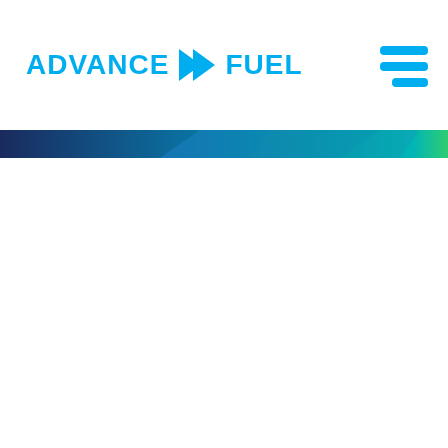ADVANCE > FUEL
[Figure (illustration): Horizontal gradient banner bar transitioning from dark navy/blue on the left through teal/cyan in the center to a small green section on the right, with a diagonal lighter blue geometric shape overlay in the middle-right area.]